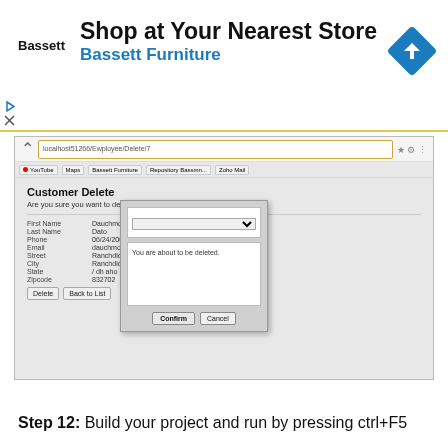[Figure (screenshot): Advertisement banner for Bassett Furniture with logo, title 'Shop at Your Nearest Store', subtitle 'Bassett Furniture', and a blue diamond navigation icon on the right.]
[Figure (screenshot): Browser screenshot showing a 'Customer Delete' page with customer fields (First Name: Dauchmorn, Last Name: Dato, Phone: 06/24/2000, Email, Street, City, State, Zipcode) and a confirmation modal dialog with a 'Confirm' and 'Cancel' button and message 'You are about to be deleted.']
Step 12: Build your project and run by pressing ctrl+F5